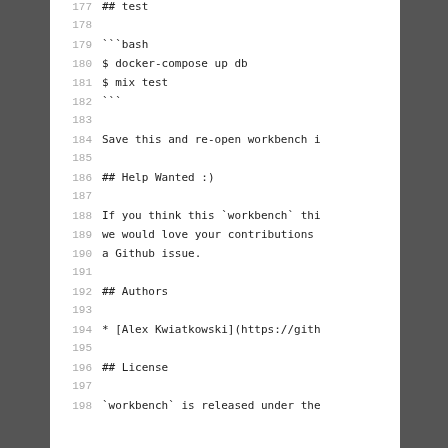177   ## test
178
179   ```bash
180   $ docker-compose up db
181   $ mix test
182   ```
183
184   Save this and re-open workbench i
185
186   ## Help Wanted :)
187
188   If you think this `workbench` thi
189   we would love your contributions
190   a Github issue.
191
192   ## Authors
193
194   * [Alex Kwiatkowski](https://gith
195
196   ## License
197
198   `workbench` is released under the